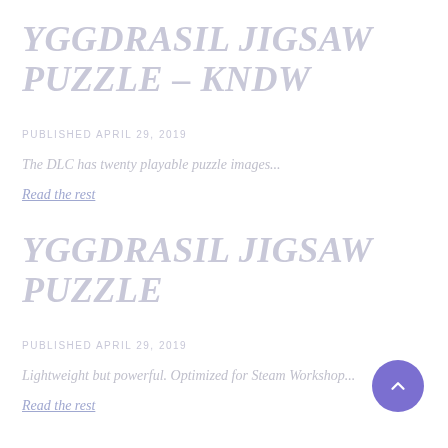YGGDRASIL JIGSAW PUZZLE – KNDW
PUBLISHED APRIL 29, 2019
The DLC has twenty playable puzzle images...
Read the rest
YGGDRASIL JIGSAW PUZZLE
PUBLISHED APRIL 29, 2019
Lightweight but powerful. Optimized for Steam Workshop...
Read the rest